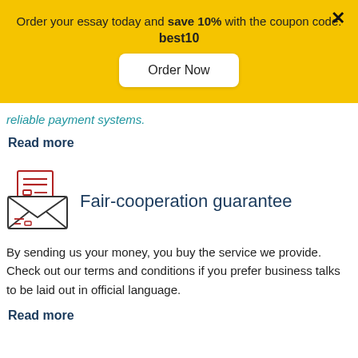Order your essay today and save 10% with the coupon code: best10
reliable payment systems.
Read more
[Figure (illustration): Envelope with document icon — fair-cooperation guarantee symbol]
Fair-cooperation guarantee
By sending us your money, you buy the service we provide. Check out our terms and conditions if you prefer business talks to be laid out in official language.
Read more